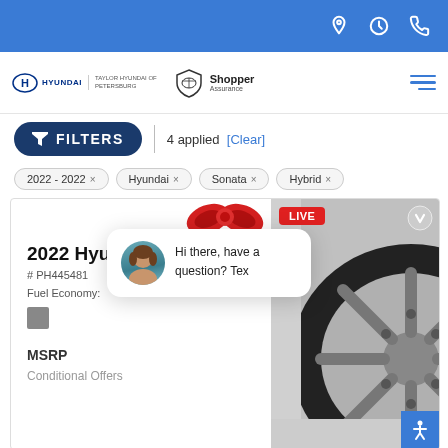[Figure (screenshot): Top blue navigation bar with location, clock, and phone icons on the right]
[Figure (logo): Hyundai logo and Taylor Hyundai of Petersburg dealer name, with Shopper Assurance logo]
FILTERS | 4 applied [Clear]
2022 - 2022 ×
Hyundai ×
Sonata ×
Hybrid ×
2022 Hyu
# PH445481
Fuel Economy:
MSRP
Conditional Offers
Hi there, have a question? Tex
[Figure (photo): Close-up of a car wheel/tire with LIVE badge overlay]